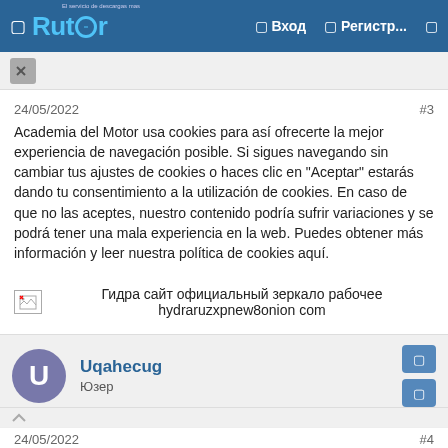Rutor | Вход | Регистр...
24/05/2022
#3
Academia del Motor usa cookies para así ofrecerte la mejor experiencia de navegación posible. Si sigues navegando sin cambiar tus ajustes de cookies o haces clic en "Aceptar" estarás dando tu consentimiento a la utilización de cookies. En caso de que no las aceptes, nuestro contenido podría sufrir variaciones y se podrá tener una mala experiencia en la web. Puedes obtener más información y leer nuestra política de cookies aquí.
[Figure (illustration): Broken image icon followed by text: Гидра сайт официальный зеркало рабочее hydraruzxpnew8onion com]
Uqahecug
Юзер
24/05/2022
#4